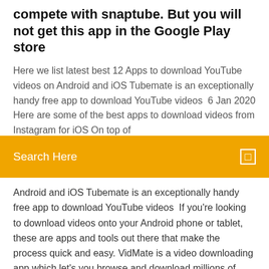compete with snaptube. But you will not get this app in the Google Play store
Here we list latest best 12 Apps to download YouTube videos on Android and iOS Tubemate is an exceptionally handy free app to download YouTube videos  6 Jan 2020 Here are some of the best apps to download videos from Instagram for iOS On top of
Search Here
Android and iOS Tubemate is an exceptionally handy free app to download YouTube videos  If you're looking to download videos onto your Android phone or tablet, these are apps and tools out there that make the process quick and easy. VidMate is a video downloading app which let's you browse and download millions of videos from platforms like Youtube, Facebook. Download VidMate now. When the topic of downloading YouTube videos comes up, there's a side Third-party software is where you will get the best control over downloading online videos. One is